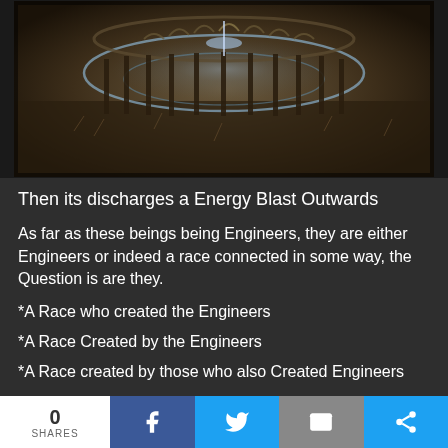[Figure (photo): Dark sepia-toned image showing a circular ring structure with tall thin figures or posts arranged in a circle, glowing at the top, in a field or landscape setting]
Then its discharges a Energy Blast Outwards
As far as these beings being Engineers, they are either Engineers or indeed a race connected in some way, the Question is are they.
*A Race who created the Engineers
*A Race Created by the Engineers
*A Race created by those who also Created Engineers
0 SHARES  [Facebook] [Twitter] [Email] [More]